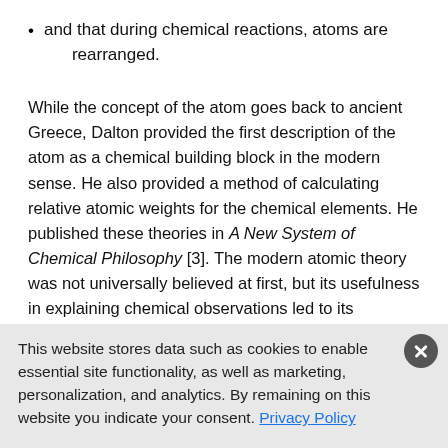and that during chemical reactions, atoms are rearranged.
While the concept of the atom goes back to ancient Greece, Dalton provided the first description of the atom as a chemical building block in the modern sense. He also provided a method of calculating relative atomic weights for the chemical elements. He published these theories in A New System of Chemical Philosophy [3]. The modern atomic theory was not universally believed at first, but its usefulness in explaining chemical observations led to its acceptance growing slowly over time. It is mostly correct, but had to be amended to account for the existence of subatomic particles and different isotopes of an element. The unit of atomic mass is named Dalton (Da) in his honor.
This website stores data such as cookies to enable essential site functionality, as well as marketing, personalization, and analytics. By remaining on this website you indicate your consent. Privacy Policy